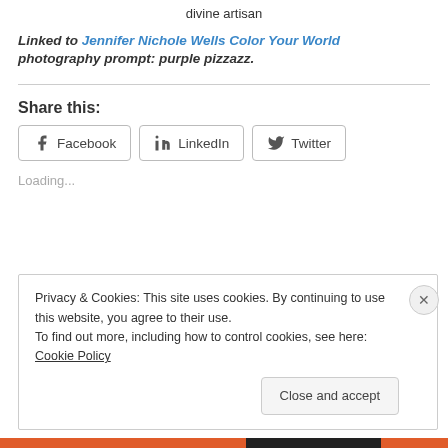divine artisan
Linked to Jennifer Nichole Wells Color Your World photography prompt: purple pizzazz.
Share this:
Loading...
Privacy & Cookies: This site uses cookies. By continuing to use this website, you agree to their use.
To find out more, including how to control cookies, see here: Cookie Policy
Close and accept